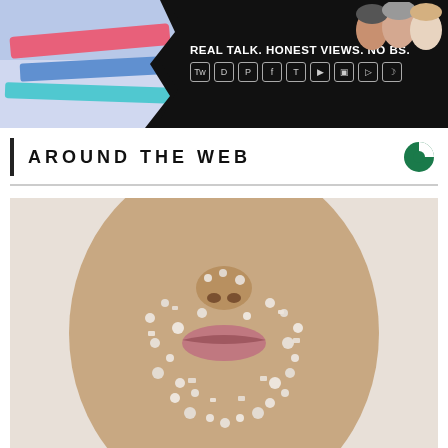[Figure (screenshot): Advertisement banner showing colorful items on left (pink/blue tones) and dark right side with three people's faces and text 'REAL TALK. HONEST VIEWS. NO BS.' with social media icons]
AROUND THE WEB
[Figure (photo): Close-up portrait of a person's face (nose and lips) covered in sugar or salt crystals, on a light background]